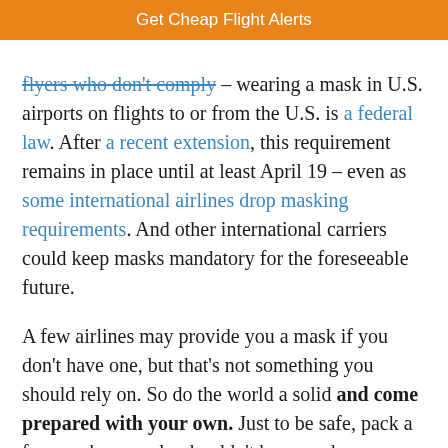Get Cheap Flight Alerts
flyers who don't comply – wearing a mask in U.S. airports on flights to or from the U.S. is a federal law. After a recent extension, this requirement remains in place until at least April 19 – even as some international airlines drop masking requirements. And other international carriers could keep masks mandatory for the foreseeable future.

A few airlines may provide you a mask if you don't have one, but that's not something you should rely on. So do the world a solid and come prepared with your own. Just to be safe, pack a few masks – masks shouldn't be reused constantly, and you never know when an elastic band may snap.